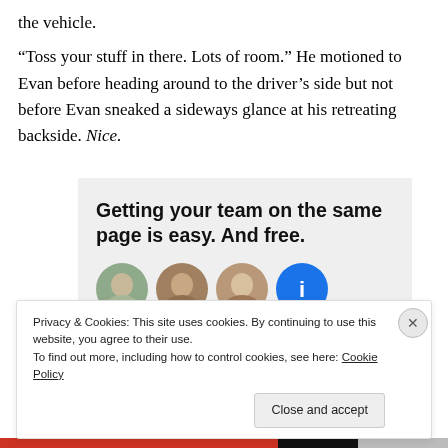the vehicle.
“Toss your stuff in there. Lots of room.” He motioned to Evan before heading around to the driver’s side but not before Evan sneaked a sideways glance at his retreating backside. Nice.
[Figure (infographic): Advertisement box with text: Getting your team on the same page is easy. And free. With four avatar images below.]
Privacy & Cookies: This site uses cookies. By continuing to use this website, you agree to their use.
To find out more, including how to control cookies, see here: Cookie Policy
Close and accept